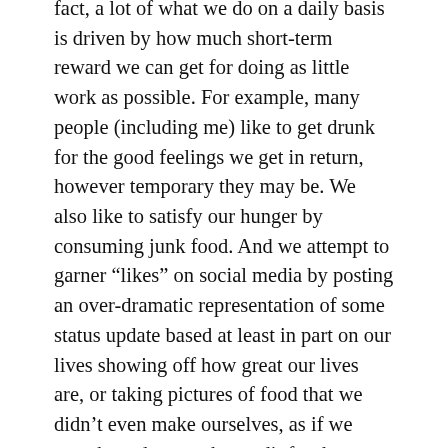fact, a lot of what we do on a daily basis is driven by how much short-term reward we can get for doing as little work as possible. For example, many people (including me) like to get drunk for the good feelings we get in return, however temporary they may be. We also like to satisfy our hunger by consuming junk food. And we attempt to garner “likes” on social media by posting an over-dramatic representation of some status update based at least in part on our lives showing off how great our lives are, or taking pictures of food that we didn’t even make ourselves, as if we somehow deserve the credit for the culinary art.
All these things give us instant gratification, but they make us worse off in the long run. They make us feel good just in that moment, but that feeling does not persist, and we even pay a price afterward. In the case of alcohol and junk food, the price is